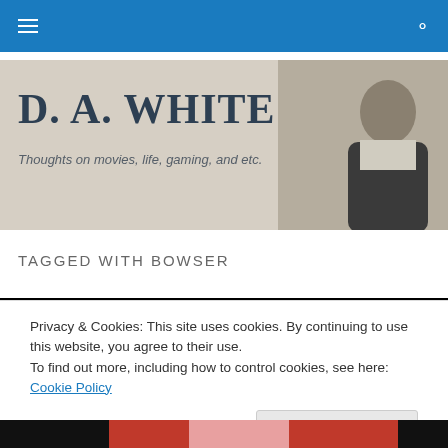Navigation bar with hamburger menu and search icon
[Figure (photo): Blog header banner with site title 'D. A. WHITE', tagline 'Thoughts on movies, life, gaming, and etc.' and a photo of a young man on the right side]
TAGGED WITH BOWSER
[Figure (screenshot): Black image bar / article thumbnail placeholder]
Privacy & Cookies: This site uses cookies. By continuing to use this website, you agree to their use.
To find out more, including how to control cookies, see here: Cookie Policy
Close and accept
[Figure (screenshot): Bottom color strip with black, red, pink, red, and black segments]